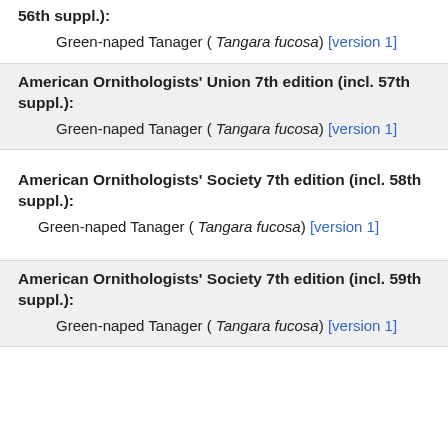56th suppl.):
Green-naped Tanager ( Tangara fucosa) [version 1]
American Ornithologists' Union 7th edition (incl. 57th suppl.):
Green-naped Tanager ( Tangara fucosa) [version 1]
American Ornithologists' Society 7th edition (incl. 58th suppl.):
Green-naped Tanager ( Tangara fucosa) [version 1]
American Ornithologists' Society 7th edition (incl. 59th suppl.):
Green-naped Tanager ( Tangara fucosa) [version 1]